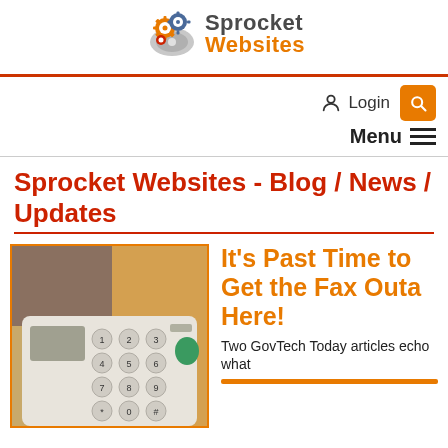[Figure (logo): Sprocket Websites logo with gear/sprocket icon and text 'Sprocket Websites' in gray and orange]
Login  Menu
Sprocket Websites - Blog / News / Updates
[Figure (photo): Close-up photo of a fax machine keypad with numbered buttons]
It's Past Time to Get the Fax Outa Here!
Two GovTech Today articles echo what